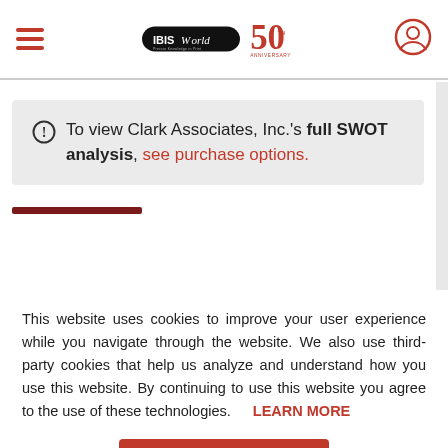IBISWorld 50th Anniversary
To view Clark Associates, Inc.'s full SWOT analysis, see purchase options.
This website uses cookies to improve your user experience while you navigate through the website. We also use third-party cookies that help us analyze and understand how you use this website. By continuing to use this website you agree to the use of these technologies. LEARN MORE
ACCEPT